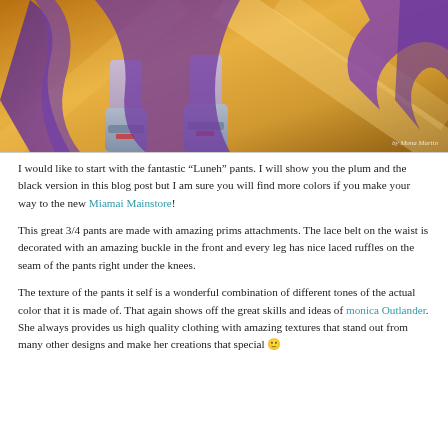[Figure (photo): Fashion photo showing legs wearing plum/purple 3/4 pants with lace details and silver boots, against a golden background. Watermark reads 'by Mona Martin'.]
I would like to start with the fantastic “Luneh” pants. I will show you the plum and the black version in this blog post but I am sure you will find more colors if you make your way to the new Miamai Mainstore!
This great 3/4 pants are made with amazing prims attachments. The lace belt on the waist is decorated with an amazing buckle in the front and every leg has nice laced ruffles on the seam of the pants right under the knees.
The texture of the pants it self is a wonderful combination of different tones of the actual color that it is made of. That again shows off the great skills and ideas of monica Outlander. She always provides us high quality clothing with amazing textures that stand out from many other designs and make her creations that special 🙂